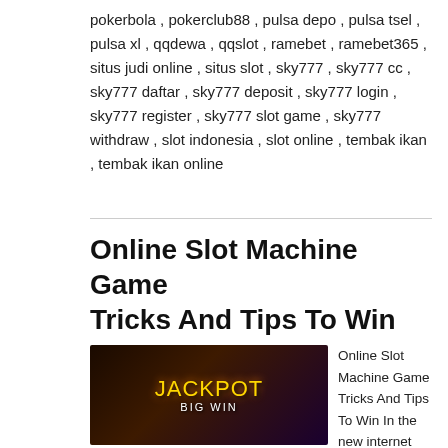pokerbola , pokerclub88 , pulsa depo , pulsa tsel , pulsa xl , qqdewa , qqslot , ramebet , ramebet365 , situs judi online , situs slot , sky777 , sky777 cc , sky777 daftar , sky777 deposit , sky777 login , sky777 register , sky777 slot game , sky777 withdraw , slot indonesia , slot online , tembak ikan , tembak ikan online
Online Slot Machine Game Tricks And Tips To Win
[Figure (photo): Casino jackpot slot machine scene with a woman holding a tablet, JACKPOT BIG WIN text visible]
Online Slot Machine Game Tricks And Tips To Win In the new internet gaming revolution, an online slot game is a great way to have fun, enjoy